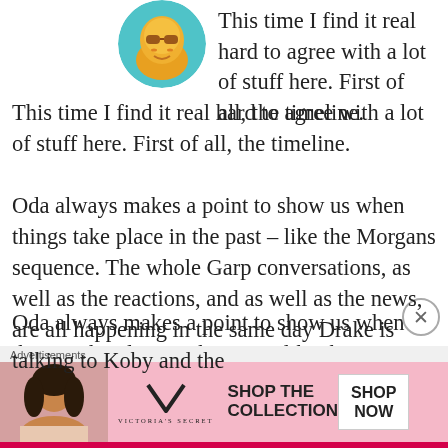[Figure (illustration): Circular avatar image of a cartoon-style character with sunglasses and orange/yellow tones]
This time I find it real hard to agree with a lot of stuff here. First of all, the timeline.

Oda always makes a point to show us when things take place in the past – like the Morgans sequence. The whole Garp conversations, as well as the reactions, and as well as the news, are all happening in the same day Drake is talking to Koby and the
[Figure (photo): Advertisement banner for Victoria's Secret: pink background with a woman's photo on the left, Victoria's Secret logo in the center, 'SHOP THE COLLECTION' text, and a 'SHOP NOW' button on the right]